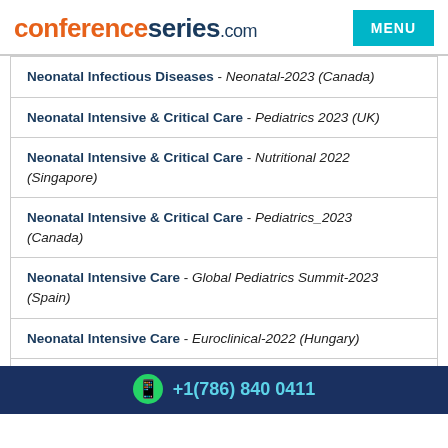conferenceseries.com
Neonatal Infectious Diseases - Neonatal-2023 (Canada)
Neonatal Intensive & Critical Care - Pediatrics 2023 (UK)
Neonatal Intensive & Critical Care - Nutritional 2022 (Singapore)
Neonatal Intensive & Critical Care - Pediatrics_2023 (Canada)
Neonatal Intensive Care - Global Pediatrics Summit-2023 (Spain)
Neonatal Intensive Care - Euroclinical-2022 (Hungary)
Neonatal Intensive Care and Nursing - Pediatrics Neonatal
+1(786) 840 0411